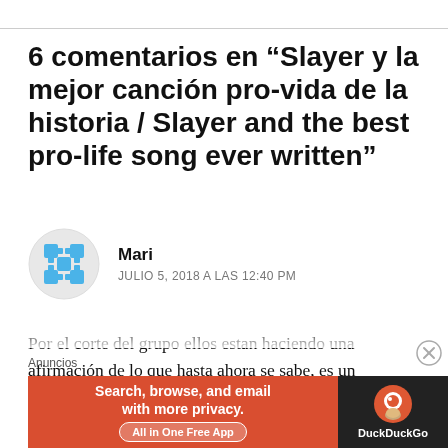6 comentarios en “Slayer y la mejor canción pro-vida de la historia / Slayer and the best pro-life song ever written”
Mari
JULIO 5, 2018 A LAS 12:40 PM
Por el corte del grupo ellos estan haciendo una afirmación de lo que hasta ahora se sabe, es un sacrificio realmente pero la gente lo ignora y si empieza en la mente luego al corazon y
Anuncios
[Figure (screenshot): DuckDuckGo advertisement banner: orange background with text 'Search, browse, and email with more privacy. All in One Free App' and DuckDuckGo logo on dark background]